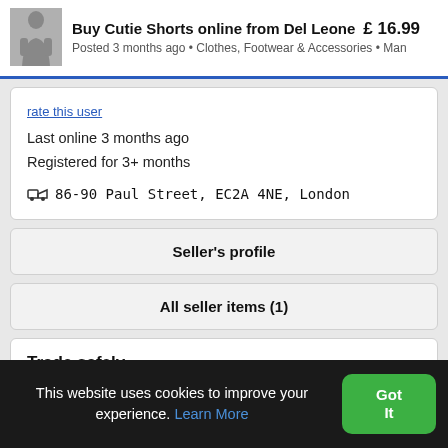Buy Cutie Shorts online from Del Leone  £ 16.99  Posted 3 months ago • Clothes, Footwear & Accessories • Man
Last online 3 months ago
Registered for 3+ months
📍 86-90 Paul Street, EC2A 4NE, London
Seller's profile
All seller items (1)
Trade safely....
Avoid scams by trading locally, or pay with PayPal or credit card.
This website uses cookies to improve your experience. Learn More  Got It